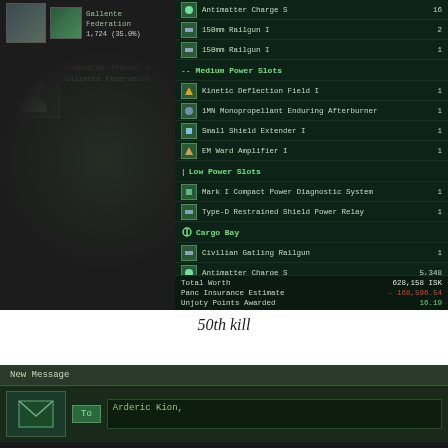[Figure (screenshot): EVE Online kill report interface showing ship fitting details. Left panel shows Gallente Federation faction info, top damage portrait and Federation Praktor Arins / Gallente Federation label. Right panel lists High Power Slots (Antimatter Charge S x16, 150mm Railgun I x2, 150mm Railgun I x1), Medium Power Slots (Kinetic Deflection Field I x1, 1MN Monopropellant Enduring Afterburner x1, Small Shield Extender I x1, EM Ward Amplifier I x1), Low Power Slots (Mark I Compact Power Diagnostic System x1, Type-D Restrained Shield Power Relay x1), Cargo Bay (Civilian Gatling Railgun x1, Antimatter Charge S x5,348). Total Worth 628,158 ISK, Panc Insurance Estimate -168,596.54, Unjoty Points Awarded 16.19.]
50th kill
[Figure (screenshot): EVE Online New Message interface showing message composition window with envelope icon, To button, and recipient field showing 'Arderic Kion,']